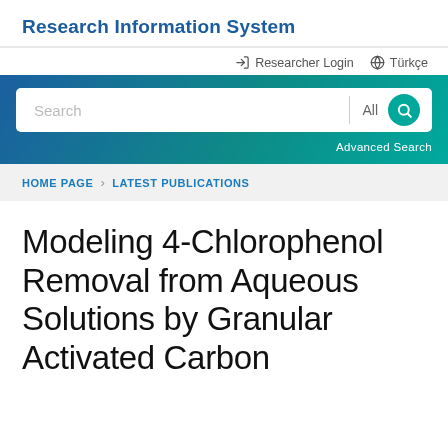Research Information System
Researcher Login   Türkçe
[Figure (screenshot): Search bar with gradient blue-to-teal background, white input box with placeholder 'Search', a divider, 'All' dropdown text, a teal search icon button, and 'Advanced Search' link below.]
HOME PAGE > LATEST PUBLICATIONS
Modeling 4-Chlorophenol Removal from Aqueous Solutions by Granular Activated Carbon